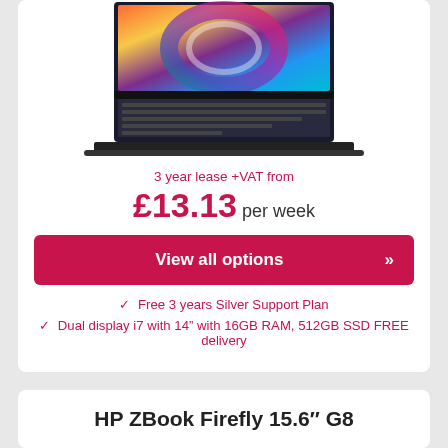[Figure (photo): Top portion of a laptop with dual display showing a colorful swirling abstract background on the screen, keyboard visible]
3 year lease +VAT from
£13.13 per week
View all options »
✓ Free 3 years Silver Support Plan
✓ Dual display i7 with 14″ with 16GB RAM, 512GB SSD FREE delivery
HP ZBook Firefly 15.6″ G8